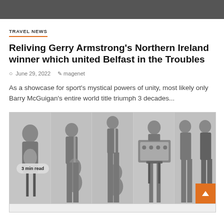TRAVEL NEWS
Reliving Gerry Armstrong's Northern Ireland winner which united Belfast in the Troubles
June 29, 2022   magenet
As a showcase for sport's mystical powers of unity, most likely only Barry McGuigan's entire world title triumph 3 decades...
[Figure (photo): Black and white photo strip showing band members with instruments in multiple panels. Left panel shows person sitting on stool. Middle panels show members with guitars. Right panels show person at amplifier and two standing members. An orange scroll-to-top button is visible bottom right.]